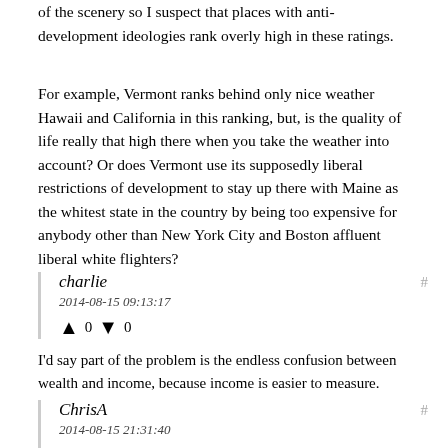of the scenery so I suspect that places with anti-development ideologies rank overly high in these ratings.
For example, Vermont ranks behind only nice weather Hawaii and California in this ranking, but, is the quality of life really that high there when you take the weather into account? Or does Vermont use its supposedly liberal restrictions of development to stay up there with Maine as the whitest state in the country by being too expensive for anybody other than New York City and Boston affluent liberal white flighters?
charlie
2014-08-15 09:13:17
↑ 0 ↓ 0
I'd say part of the problem is the endless confusion between wealth and income, because income is easier to measure.
ChrisA
2014-08-15 21:31:40